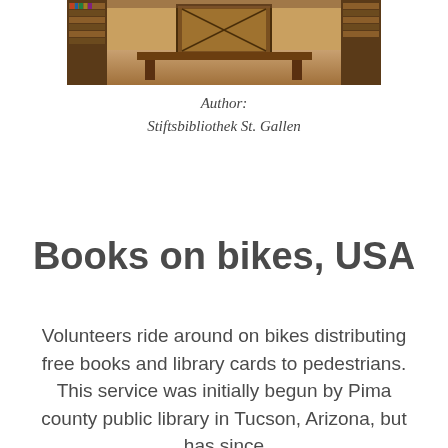[Figure (photo): Interior of a historic library with wooden bookshelves and display cases, warm lighting, ornate wooden furniture.]
Author:
Stiftsbibliothek St. Gallen
Books on bikes, USA
Volunteers ride around on bikes distributing free books and library cards to pedestrians. This service was initially begun by Pima county public library in Tucson, Arizona, but has since